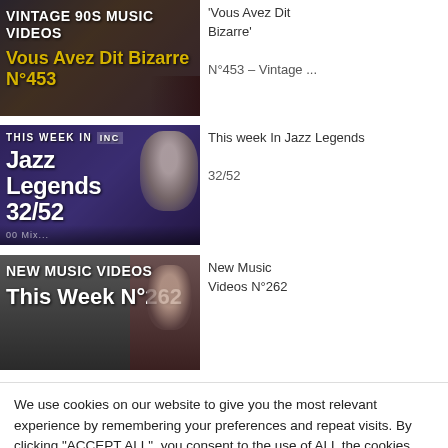[Figure (screenshot): Thumbnail for 'Vintage 90s Music Videos - Vous Avez Dit Bizarre N°453' showing bold yellow and white text on dark background]
'Vous Avez Dit Bizarre'
N°453 – Vintage ...
[Figure (screenshot): Thumbnail for 'This Week In Jazz Legends 32/52' showing white bold text on dark blue/purple background with person image]
This week In Jazz Legends
32/52
[Figure (screenshot): Thumbnail for 'New Music Videos This Week N°262' showing white bold text on dark background]
New Music Videos N°262
We use cookies on our website to give you the most relevant experience by remembering your preferences and repeat visits. By clicking "ACCEPT ALL", you consent to the use of ALL the cookies. However, you may visit "Cookie Settings" to provide a controlled consent.
Cookie Settings    REJECT ALL    ACCEPT ALL